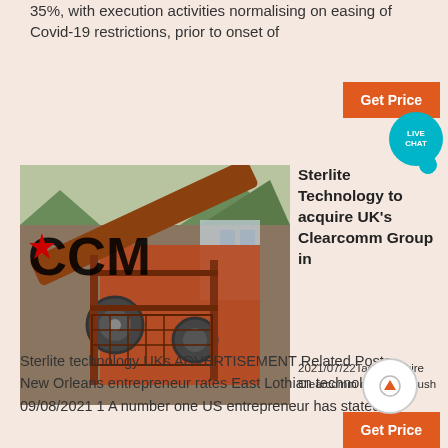35%, with execution activities normalising on easing of Covid-19 restrictions, prior to onset of
[Figure (photo): Industrial machinery/equipment photo with CCM logo overlay, showing large orange metal conveyor/processing equipment outdoors]
Sterlite Technology to acquire UK's Clearcomm Group in
2021/07/22Tags: acquire Clearcomm overseas Push
Sterlite technology UKs ADVERTISEMENT Related Posts New Orleans entrepreneur rates East Lothian technology firm 09/08/2021 1 A number one US entrepreneur has stated 3
[Figure (other): Get Price orange button with Live Chat bubble]
[Figure (other): Scroll to top arrow circle button]
[Figure (other): Get Price orange button at bottom]